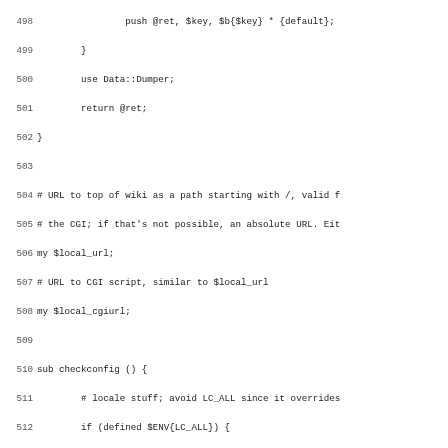Source code listing, lines 498-530, Perl script with checkconfig subroutine